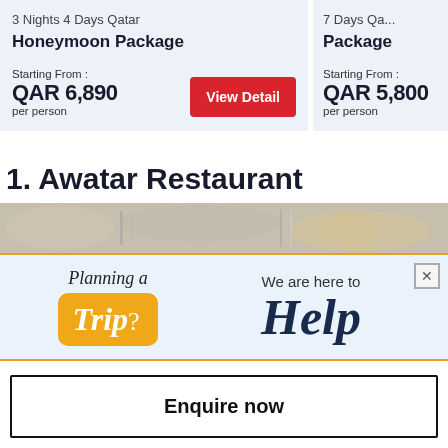Honeymoon Package
Starting From : QAR 6,890 per person
Starting From : QAR 5,800 per person
1. Awatar Restaurant
[Figure (photo): Photo of restaurant table setting with silverware and dishes]
[Figure (infographic): Ad banner: Planning a Trip? We are here to Help]
Enquire now